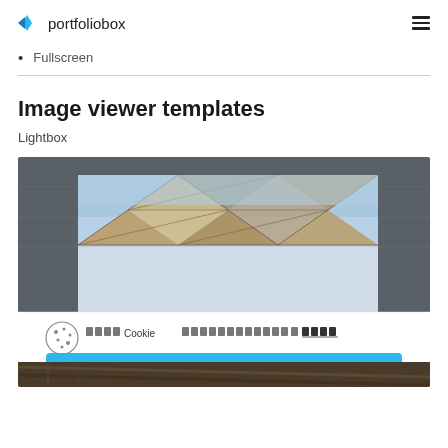portfoliobox
Fullscreen
Image viewer templates
Lightbox
[Figure (screenshot): Screenshot of Portfoliobox lightbox image viewer template showing a geometric architectural dome image in a lightbox modal overlay on a darkened background, with a cookie consent banner at the bottom containing a blue accept button.]